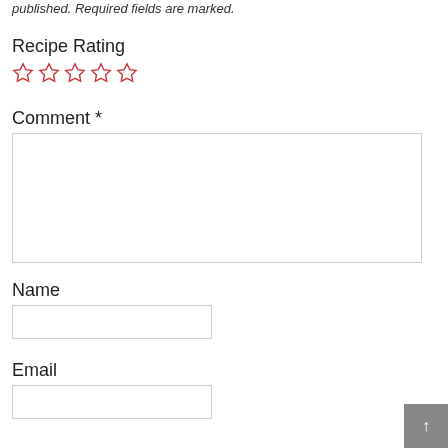published. Required fields are marked.
Recipe Rating
[Figure (other): Five empty star rating icons in a row]
Comment *
[Figure (other): Multi-line comment text input box]
Name
[Figure (other): Single-line Name text input box]
Email
[Figure (other): Single-line Email text input box]